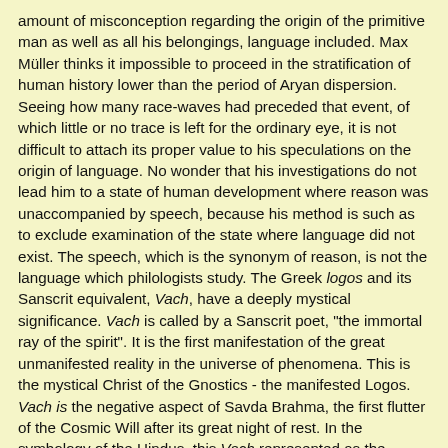amount of misconception regarding the origin of the primitive man as well as all his belongings, language included. Max Müller thinks it impossible to proceed in the stratification of human history lower than the period of Aryan dispersion. Seeing how many race-waves had preceded that event, of which little or no trace is left for the ordinary eye, it is not difficult to attach its proper value to his speculations on the origin of language. No wonder that his investigations do not lead him to a state of human development where reason was unaccompanied by speech, because his method is such as to exclude examination of the state where language did not exist. The speech, which is the synonym of reason, is not the language which philologists study. The Greek logos and its Sanscrit equivalent, Vach, have a deeply mystical significance. Vach is called by a Sanscrit poet, "the immortal ray of the spirit". It is the first manifestation of the great unmanifested reality in the universe of phenomena. This is the mystical Christ of the Gnostics - the manifested Logos. Vach is the negative aspect of Savda Brahma, the first flutter of the Cosmic Will after its great night of rest. In the symbology of the Hindus, this Vach represented as the Goddess Saravati, who is also known as Devasena. Her husband is the eternal celibate, Kumara. It is enough here to say, without entering into a discussion of the endless correlations of spiritual forces, that the mystical Vach is not